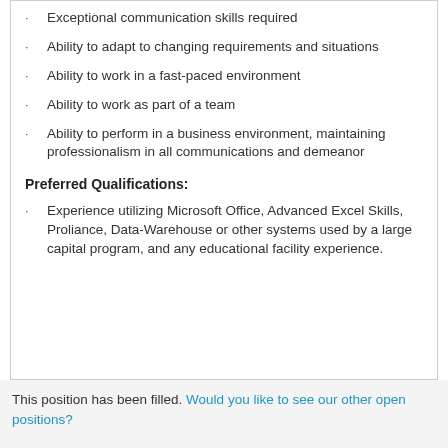Exceptional communication skills required
Ability to adapt to changing requirements and situations
Ability to work in a fast-paced environment
Ability to work as part of a team
Ability to perform in a business environment, maintaining professionalism in all communications and demeanor
Preferred Qualifications:
Experience utilizing Microsoft Office, Advanced Excel Skills, Proliance, Data-Warehouse or other systems used by a large capital program, and any educational facility experience.
This position has been filled. Would you like to see our other open positions?